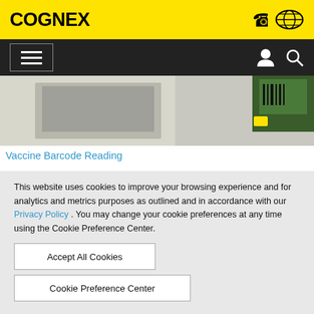COGNEX
[Figure (screenshot): Partial hero image showing what appears to be a barcode scanner being held up near a document, with green/black device visible at top right.]
Vaccine Barcode Reading
This website uses cookies to improve your browsing experience and for analytics and metrics purposes as outlined and in accordance with our Privacy Policy . You may change your cookie preferences at any time using the Cookie Preference Center.
Accept All Cookies
Cookie Preference Center